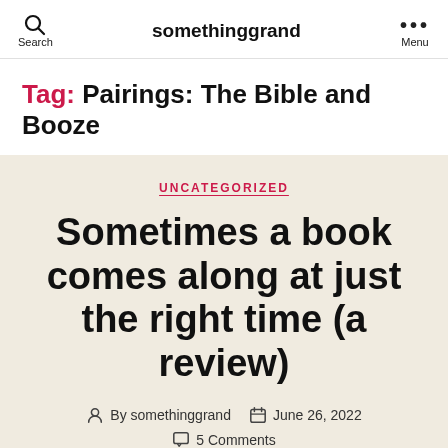somethinggrand
Tag: Pairings: The Bible and Booze
UNCATEGORIZED
Sometimes a book comes along at just the right time (a review)
By somethinggrand  June 26, 2022  5 Comments